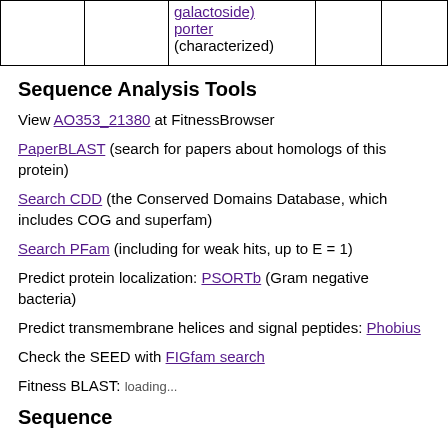|  |  |  |  |  |
| --- | --- | --- | --- | --- |
|  |  | galactoside)
porter
(characterized) |  |  |
Sequence Analysis Tools
View AO353_21380 at FitnessBrowser
PaperBLAST (search for papers about homologs of this protein)
Search CDD (the Conserved Domains Database, which includes COG and superfam)
Search PFam (including for weak hits, up to E = 1)
Predict protein localization: PSORTb (Gram negative bacteria)
Predict transmembrane helices and signal peptides: Phobius
Check the SEED with FIGfam search
Fitness BLAST: loading...
Sequence